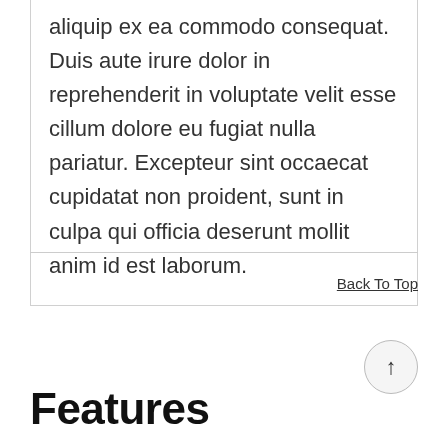aliquip ex ea commodo consequat. Duis aute irure dolor in reprehenderit in voluptate velit esse cillum dolore eu fugiat nulla pariatur. Excepteur sint occaecat cupidatat non proident, sunt in culpa qui officia deserunt mollit anim id est laborum.
Back To Top
Features